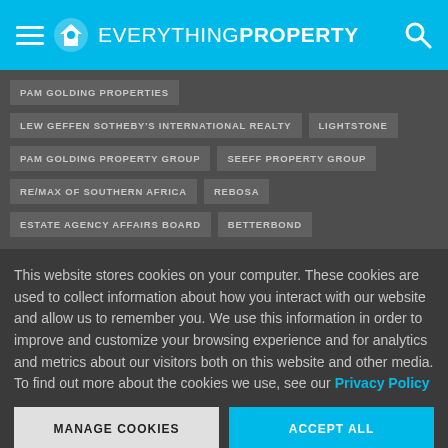Everything Property
PAM GOLDING PROPERTIES
LEW GEFFEN SOTHEBY'S INTERNATIONAL REALTY
LIGHTSTONE
PAM GOLDING PROPERTY GROUP
SEEFF PROPERTY GROUP
RE/MAX OF SOUTHERN AFRICA
REBOSA
ESTATE AGENCY AFFAIRS BOARD
BETTERBOND
This website stores cookies on your computer. These cookies are used to collect information about how you interact with our website and allow us to remember you. We use this information in order to improve and customize your browsing experience and for analytics and metrics about our visitors both on this website and other media. To find out more about the cookies we use, see our Privacy Policy
MANAGE COOKIES
ACCEPT ALL